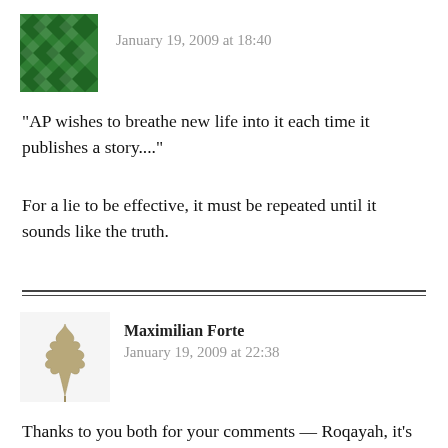January 19, 2009 at 18:40
“AP wishes to breathe new life into it each time it publishes a story....”
For a lie to be effective, it must be repeated until it sounds like the truth.
Maximilian Forte
January 19, 2009 at 22:38
Thanks to you both for your comments — Roqayah, it’s great that we met — Ken thanks for